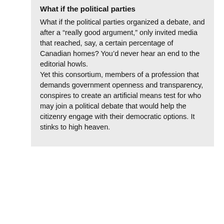What if the political parties
What if the political parties organized a debate, and after a “really good argument,” only invited media that reached, say, a certain percentage of Canadian homes? You’d never hear an end to the editorial howls.
Yet this consortium, members of a profession that demands government openness and transparency, conspires to create an artificial means test for who may join a political debate that would help the citizenry engage with their democratic options. It stinks to high heaven.